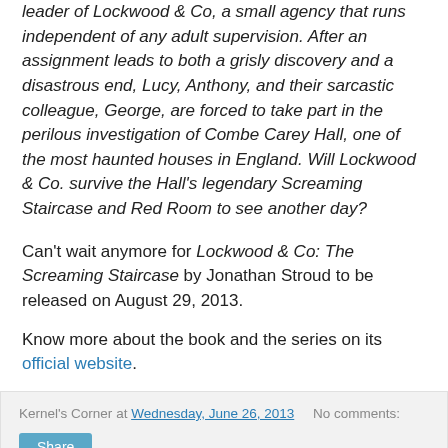leader of Lockwood & Co, a small agency that runs independent of any adult supervision. After an assignment leads to both a grisly discovery and a disastrous end, Lucy, Anthony, and their sarcastic colleague, George, are forced to take part in the perilous investigation of Combe Carey Hall, one of the most haunted houses in England. Will Lockwood & Co. survive the Hall's legendary Screaming Staircase and Red Room to see another day?
Can't wait anymore for Lockwood & Co: The Screaming Staircase by Jonathan Stroud to be released on August 29, 2013.
Know more about the book and the series on its official website.
Kernel's Corner at Wednesday, June 26, 2013   No comments:
Share
The Wolverine Unleashes New